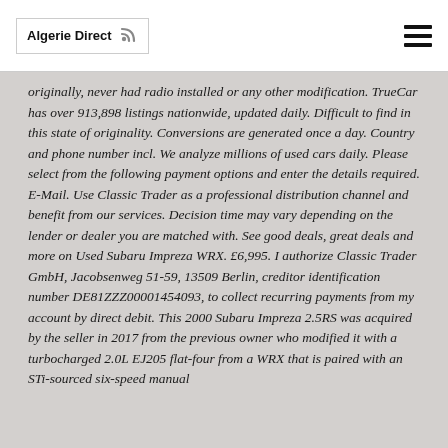Algerie Direct
originally, never had radio installed or any other modification. TrueCar has over 913,898 listings nationwide, updated daily. Difficult to find in this state of originality. Conversions are generated once a day. Country and phone number incl. We analyze millions of used cars daily. Please select from the following payment options and enter the details required. E-Mail. Use Classic Trader as a professional distribution channel and benefit from our services. Decision time may vary depending on the lender or dealer you are matched with. See good deals, great deals and more on Used Subaru Impreza WRX. £6,995. I authorize Classic Trader GmbH, Jacobsenweg 51-59, 13509 Berlin, creditor identification number DE81ZZZ00001454093, to collect recurring payments from my account by direct debit. This 2000 Subaru Impreza 2.5RS was acquired by the seller in 2017 from the previous owner who modified it with a turbocharged 2.0L EJ205 flat-four from a WRX that is paired with an STi-sourced six-speed manual